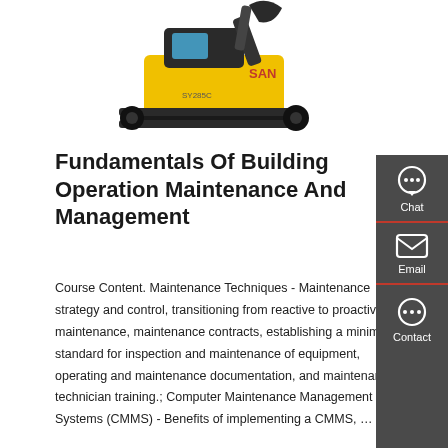[Figure (photo): Yellow SANY excavator construction machine on white background]
Fundamentals Of Building Operation Maintenance And Management
Course Content. Maintenance Techniques - Maintenance strategy and control, transitioning from reactive to proactive maintenance, maintenance contracts, establishing a minimum standard for inspection and maintenance of equipment, operating and maintenance documentation, and maintenance technician training.; Computer Maintenance Management Systems (CMMS) - Benefits of implementing a CMMS, …